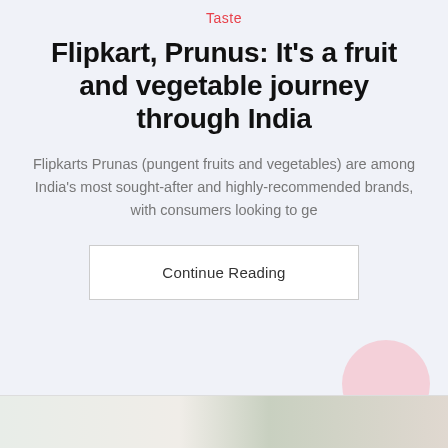Taste
Flipkart, Prunus: It's a fruit and vegetable journey through India
Flipkarts Prunas (pungent fruits and vegetables) are among India's most sought-after and highly-recommended brands, with consumers looking to ge
Continue Reading
[Figure (photo): Bottom strip showing a partial food/vegetable image]